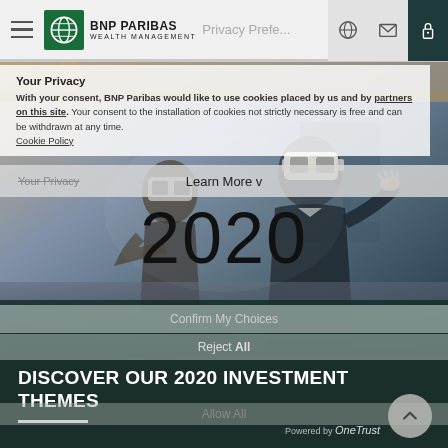BNP PARIBAS WEALTH MANAGEMENT — Privacy Preferences
Your Privacy
With your consent, BNP Paribas would like to use cookies placed by us and by partners on this site. Your consent to the installation of cookies not strictly necessary is free and can be withdrawn at any time. Cookie Policy
Learn More v
[Figure (photo): Two people wearing VR headsets in an industrial/tech environment; a man in a suit reaching out with his hand and a woman beside him.]
2020
Confirm My Choices
Reject All
DISCOVER OUR 2020 INVESTMENT THEMES
Allow All
Powered by OneTrust